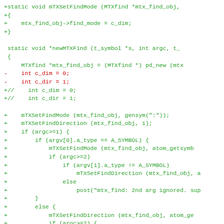Code diff showing mTXSetFindMode and newMTXFind function with added and removed lines in green and red